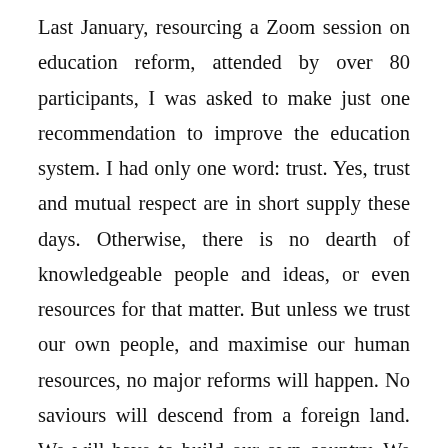Last January, resourcing a Zoom session on education reform, attended by over 80 participants, I was asked to make just one recommendation to improve the education system. I had only one word: trust. Yes, trust and mutual respect are in short supply these days. Otherwise, there is no dearth of knowledgeable people and ideas, or even resources for that matter. But unless we trust our own people, and maximise our human resources, no major reforms will happen. No saviours will descend from a foreign land. We will have to build our own country. We will have to solve our own problems. To put it in a Bhutanese adage, we will have chew our own peebles.
Somewhere along we have coined our own version of